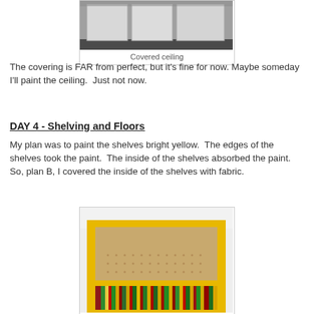[Figure (photo): Photo of covered ceiling, showing white panels and dark floor below]
Covered ceiling
The covering is FAR from perfect, but it's fine for now. Maybe someday I'll paint the ceiling.  Just not now.
DAY 4 - Shelving and Floors
My plan was to paint the shelves bright yellow.  The edges of the shelves took the paint.  The inside of the shelves absorbed the paint.  So, plan B, I covered the inside of the shelves with fabric.
[Figure (photo): Photo of a yellow-painted shelf unit with pegboard interior and colorful striped fabric on the bottom shelf]